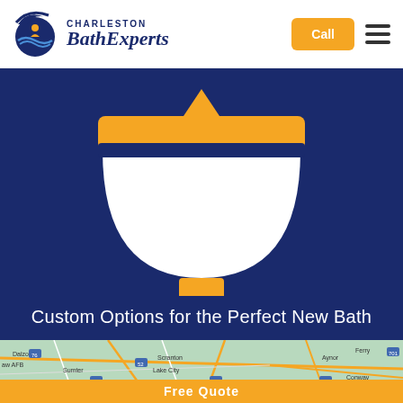[Figure (logo): Charleston Bath Experts logo with wave/bath icon and italic serif text]
[Figure (illustration): White bathtub/sink icon on dark navy blue background with golden/amber faucet bar and drain — hero banner graphic]
Custom Options for the Perfect New Bath
[Figure (map): Google Maps view showing South Carolina area including Scranton, Lake City, Johnsonville, Conway, Sumter, Dalzeel, Aynor locations with road network]
Free Quote